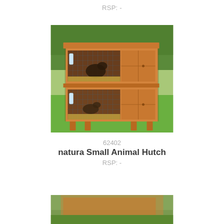RSP: -
[Figure (photo): Two-tier wooden small animal hutch (rabbit hutch) with wire mesh front panels and solid wood doors, set on grass with green foliage background. Orange/pine wood finish, two levels each with wire front and solid side door.]
62402
natura Small Animal Hutch
RSP: -
[Figure (photo): Partial bottom image of another small animal hutch product, showing grassy background, cropped at page bottom.]